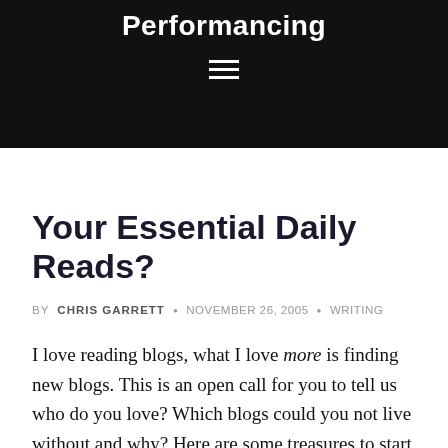Performancing
Your Essential Daily Reads?
BY CHRIS GARRETT • NOVEMBER 26, 2005 • WRITING
I love reading blogs, what I love more is finding new blogs. This is an open call for you to tell us who do you love? Which blogs could you not live without and why? Here are some treasures to start you off ..